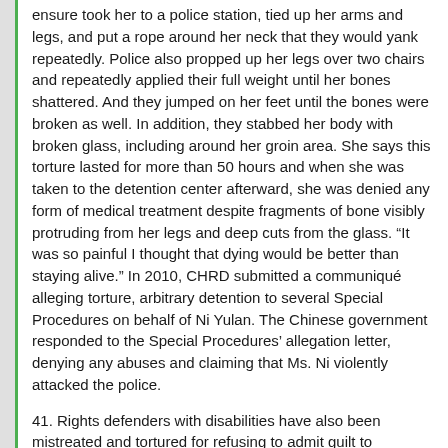ensure took her to a police station, tied up her arms and legs, and put a rope around her neck that they would yank repeatedly. Police also propped up her legs over two chairs and repeatedly applied their full weight until her bones shattered. And they jumped on her feet until the bones were broken as well. In addition, they stabbed her body with broken glass, including around her groin area. She says this torture lasted for more than 50 hours and when she was taken to the detention center afterward, she was denied any form of medical treatment despite fragments of bone visibly protruding from her legs and deep cuts from the glass. “It was so painful I thought that dying would be better than staying alive.” In 2010, CHRD submitted a communiqué alleging torture, arbitrary detention to several Special Procedures on behalf of Ni Yulan. The Chinese government responded to the Special Procedures’ allegation letter, denying any abuses and claiming that Ms. Ni violently attacked the police.
41. Rights defenders with disabilities have also been mistreated and tortured for refusing to admit guilt to unwarranted criminal charges. In many cases that CHRD has documented, it is commonplace for police at detention centers to mistreat those who maintain their innocence as a way of adding pressure to force them to confess, as the criminal justice system still heavily relies on confessions. In this context, depriving a person with disabilities of practical